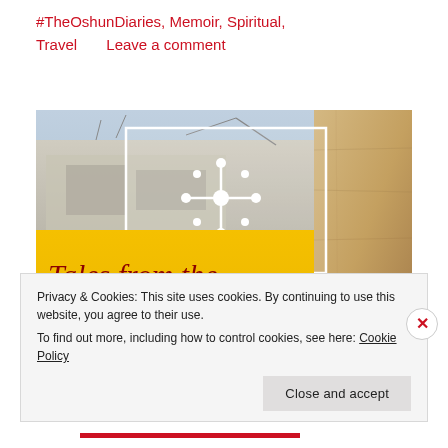#TheOshunDiaries, Memoir, Spiritual, Travel   Leave a comment
[Figure (photo): Book cover photo for 'Tales from the Pays d'Oc' showing a building with blue sky, a white rectangle with Occitan cross overlay, a yellow banner with cursive 'Tales from the' and bold 'Pays d'Oc' text in dark red, and a stone wall on the right side.]
Privacy & Cookies: This site uses cookies. By continuing to use this website, you agree to their use.
To find out more, including how to control cookies, see here: Cookie Policy
Close and accept